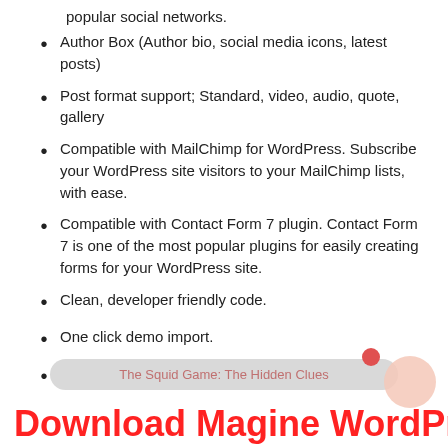popular social networks.
Author Box (Author bio, social media icons, latest posts)
Post format support; Standard, video, audio, quote, gallery
Compatible with MailChimp for WordPress. Subscribe your WordPress site visitors to your MailChimp lists, with ease.
Compatible with Contact Form 7 plugin. Contact Form 7 is one of the most popular plugins for easily creating forms for your WordPress site.
Clean, developer friendly code.
One click demo import.
Translation ready. Language file (.pot) is included.
The Squid Game: The Hidden Clues
Download Magine WordPress